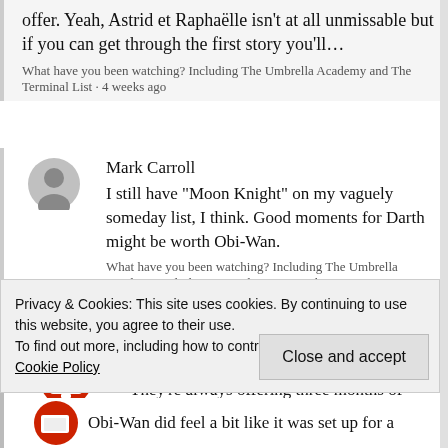offer. Yeah, Astrid et Raphaëlle isn't at all unmissable but if you can get through the first story you'll…
What have you been watching? Including The Umbrella Academy and The Terminal List · 4 weeks ago
Mark Carroll
I still have "Moon Knight" on my vaguely someday list, I think. Good moments for Darth might be worth Obi-Wan.
What have you been watching? Including The Umbrella Academy and The Terminal List · 4 weeks ago
TMINE
They're always offering three months of Apple TV+ for free. If you buy anything from
Privacy & Cookies: This site uses cookies. By continuing to use this website, you agree to their use.
To find out more, including how to control cookies, see here: Cookie Policy
Close and accept
Obi-Wan did feel a bit like it was set up for a